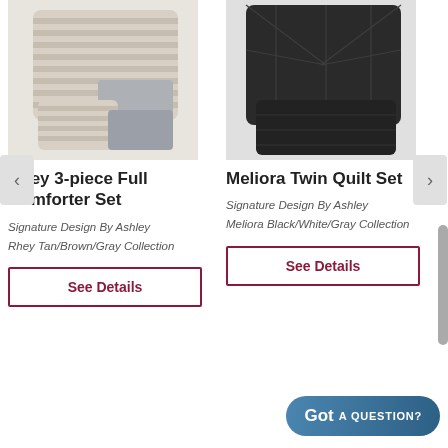[Figure (photo): Rhey 3-piece Full Comforter Set product photo – striped beige/gray/white comforter set with pillows]
Rhey 3-piece Full Comforter Set
Signature Design By Ashley
Rhey Tan/Brown/Gray Collection
See Details
[Figure (photo): Meliora Twin Quilt Set product photo – dark charcoal/black quilted set with geometric stitching]
Meliora Twin Quilt Set
Signature Design By Ashley
Meliora Black/White/Gray Collection
See Details
Got A QUESTION?